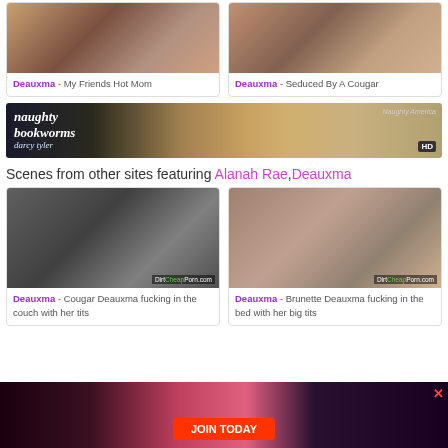[Figure (photo): Thumbnail image top left - adult content]
Deauxma - My Friends Hot Mom
[Figure (photo): Thumbnail image top right - adult content]
Deauxma - Seduced By A Cougar
[Figure (photo): Naughty Bookworms banner ad featuring Darcy Tyler, Naughty America, HD]
Scenes from other sites featuring Alanah Rae, Deauxma
[Figure (photo): Thumbnail bottom left - Deauxma on couch]
Deauxma - Cougar Deauxma fucking in the couch with her tits
[Figure (photo): Thumbnail bottom right - Deauxma on bed]
Deauxma - Brunette Deauxma fucking in the bed with her big tits
[Figure (photo): Bottom advertisement banner with JOIN TODAY button]